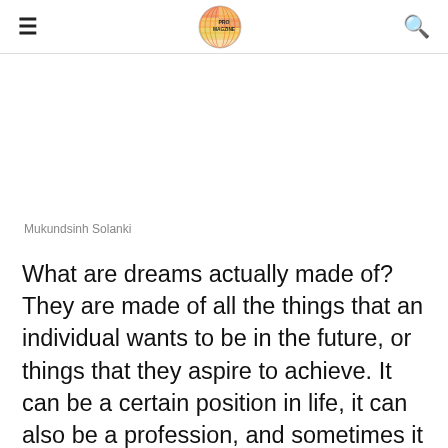PRO MAGZINE
Mukundsinh Solanki
What are dreams actually made of? They are made of all the things that an individual wants to be in the future, or things that they aspire to achieve. It can be a certain position in life, it can also be a profession, and sometimes it is just a lifestyle that they wish to follow.